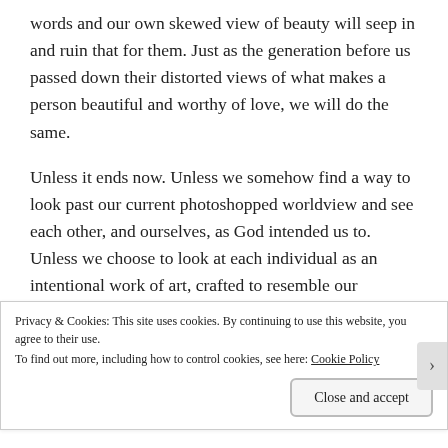words and our own skewed view of beauty will seep in and ruin that for them. Just as the generation before us passed down their distorted views of what makes a person beautiful and worthy of love, we will do the same.
Unless it ends now. Unless we somehow find a way to look past our current photoshopped worldview and see each other, and ourselves, as God intended us to. Unless we choose to look at each individual as an intentional work of art, crafted to resemble our stunningly complex and magnificent Father. Unless we can get real and love, not in spite of our differences, but because of them. Unless we can change this, we will change them. And I don't want
Privacy & Cookies: This site uses cookies. By continuing to use this website, you agree to their use.
To find out more, including how to control cookies, see here: Cookie Policy